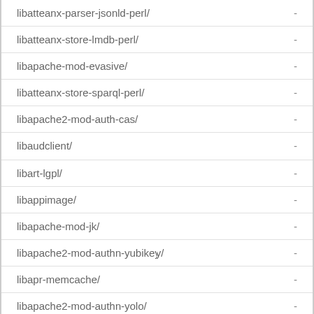libatteanx-parser-jsonld-perl/	-
libatteanx-store-lmdb-perl/	-
libapache-mod-evasive/	-
libatteanx-store-sparql-perl/	-
libapache2-mod-auth-cas/	-
libaudclient/	-
libart-lgpl/	-
libappimage/	-
libapache-mod-jk/	-
libapache2-mod-authn-yubikey/	-
libapr-memcache/	-
libapache2-mod-authn-yolo/	-
libapache-mod-removeip/	-
libapache2-mod-auth-tkt/	-
libapache2-mod-fcgid/	-
libapache2-mod-defensible/	-